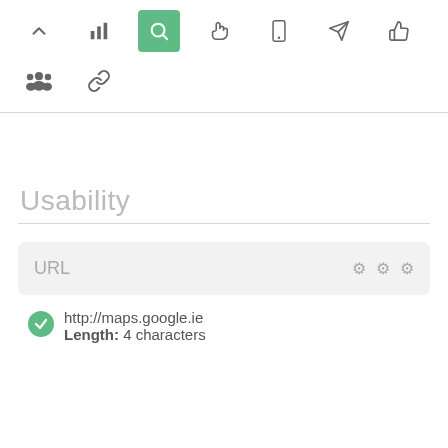[Figure (screenshot): Toolbar with icons: chevron up, bar chart, search (active/green), hand pointer, mobile, rocket/send, thumbs up, group/people, chain/link]
Usability
URL  ⚙ ⚙ ⚙
http://maps.google.ie
Length: 4 characters